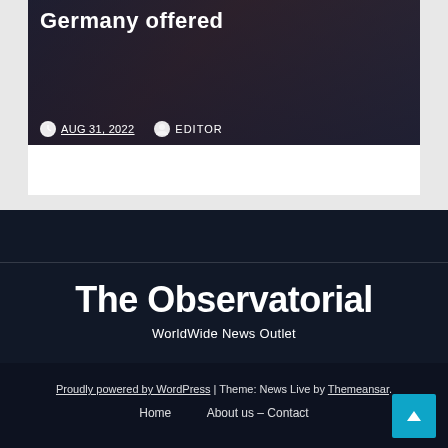[Figure (photo): News article card with dark image overlay showing a person in red jacket, bold white title text 'Germany offered' visible, with date AUG 31, 2022 and author EDITOR metadata]
AUG 31, 2022   EDITOR
The Observatorial
WorldWide News Outlet
Proudly powered by WordPress | Theme: News Live by Themeansar.
Home   About us – Contact